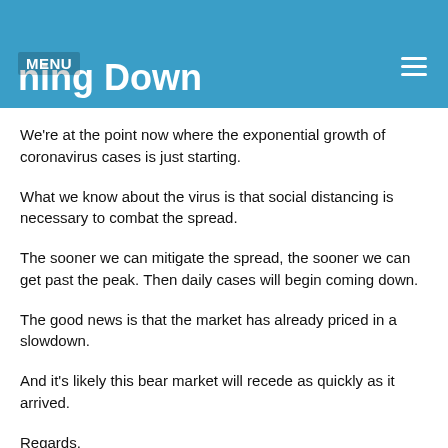Daily Cases Will Begin Coming Down
We're at the point now where the exponential growth of coronavirus cases is just starting.
What we know about the virus is that social distancing is necessary to combat the spread.
The sooner we can mitigate the spread, the sooner we can get past the peak. Then daily cases will begin coming down.
The good news is that the market has already priced in a slowdown.
And it's likely this bear market will recede as quickly as it arrived.
Regards,